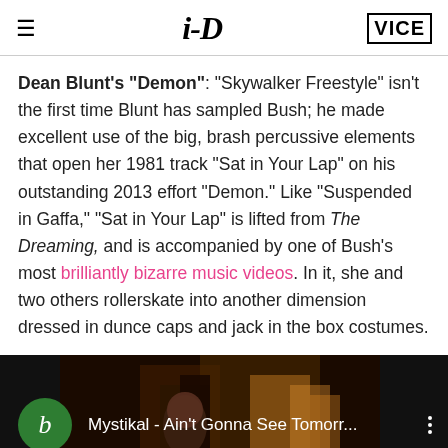i-D | VICE
Dean Blunt's "Demon": "Skywalker Freestyle" isn't the first time Blunt has sampled Bush; he made excellent use of the big, brash percussive elements that open her 1981 track "Sat in Your Lap" on his outstanding 2013 effort "Demon." Like "Suspended in Gaffa," "Sat in Your Lap" is lifted from The Dreaming, and is accompanied by one of Bush's most brilliantly bizarre music videos. In it, she and two others rollerskate into another dimension dressed in dunce caps and jack in the box costumes.
[Figure (screenshot): YouTube/media player thumbnail showing a video titled 'Mystikal - Ain't Gonna See Tomorr...' with a green circle 'b' icon on the left and a dark background with amber/fire tones]